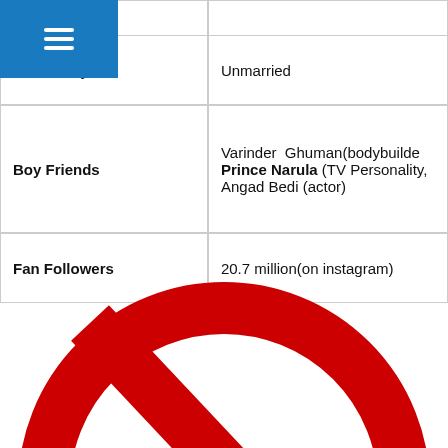≡
| Matrimony | Unmarried |
| Boy Friends | Varinder Ghuman(bodybuilder), Prince Narula (TV Personality,), Angad Bedi (actor) |
| Fan Followers | 20.7 million(on instagram) |
[Figure (illustration): Red circle-slash prohibition symbol over a black graphic element]